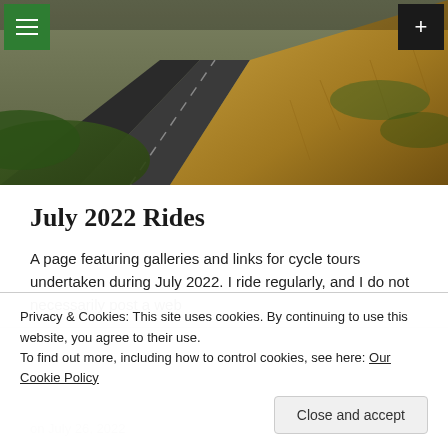[Figure (photo): Hero image of a road with green and golden grass/vegetation alongside it, viewed from above or the side, dark asphalt visible.]
July 2022 Rides
A page featuring galleries and links for cycle tours undertaken during July 2022. I ride regularly, and I do not necessarily post a web
on July 26, 2022
Privacy & Cookies: This site uses cookies. By continuing to use this website, you agree to their use.
To find out more, including how to control cookies, see here: Our Cookie Policy